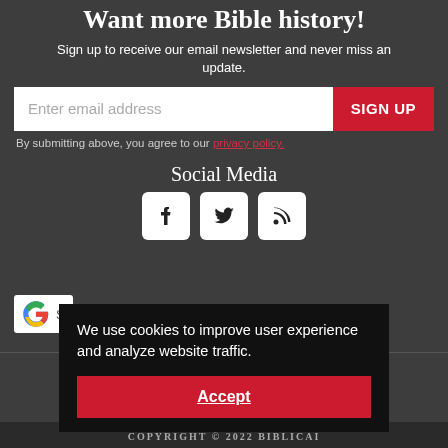Want more Bible history!
Sign up to receive our email newsletter and never miss an update.
Enter email address  SIGN UP
By submitting above, you agree to our privacy policy.
Social Media
[Figure (illustration): Social media icons: Facebook, Twitter, RSS feed]
[Figure (logo): Google badge with G logo and letter S]
We use cookies to improve user experience and analyze website traffic.
Accept
COPYRIGHT © 2022 BIBLICAI